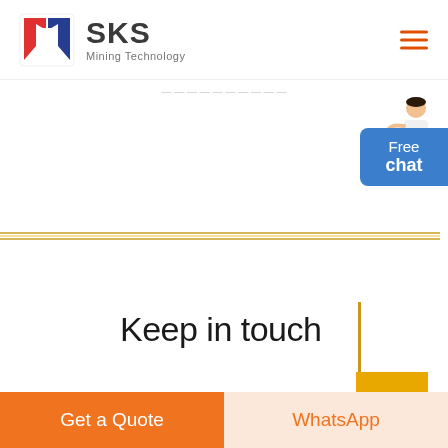[Figure (logo): SKS Mining Technology logo with red and blue S-shaped arrows icon and company name]
[Figure (infographic): Blue rounded rectangle chat widget with person avatar and text 'Free chat']
Keep in touch
[Figure (infographic): Yellow square back-to-top button with white chevron arrow]
Get a Quote
WhatsApp